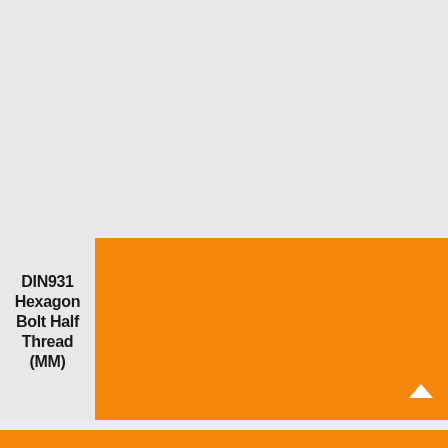[Figure (illustration): Large orange/amber colored rectangular block occupying the right portion of the lower half of the page, used as a product category color indicator or background panel.]
DIN931 Hexagon Bolt Half Thread (MM)
[Figure (illustration): Small orange scroll-to-top button with an upward pointing arrow chevron in the bottom right corner.]
[Figure (illustration): Orange strip at the very bottom of the page.]